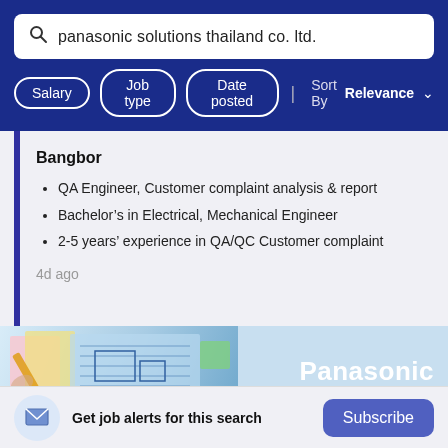panasonic solutions thailand co. ltd.
Salary | Job type | Date posted | Sort By Relevance
Bangbor
QA Engineer, Customer complaint analysis & report
Bachelor's in Electrical, Mechanical Engineer
2-5 years' experience in QA/QC Customer complaint
4d ago
[Figure (photo): Panasonic banner with engineering/blueprint imagery on left and Panasonic logo on right blue diagonal panel]
Get job alerts for this search   Subscribe